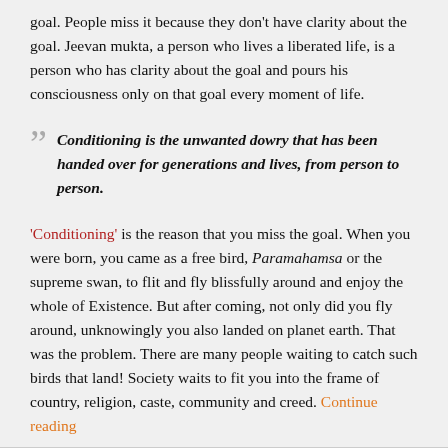goal. People miss it because they don't have clarity about the goal. Jeevan mukta, a person who lives a liberated life, is a person who has clarity about the goal and pours his consciousness only on that goal every moment of life.
Conditioning is the unwanted dowry that has been handed over for generations and lives, from person to person.
'Conditioning' is the reason that you miss the goal. When you were born, you came as a free bird, Paramahamsa or the supreme swan, to flit and fly blissfully around and enjoy the whole of Existence. But after coming, not only did you fly around, unknowingly you also landed on planet earth. That was the problem. There are many people waiting to catch such birds that land! Society waits to fit you into the frame of country, religion, caste, community and creed. Continue reading